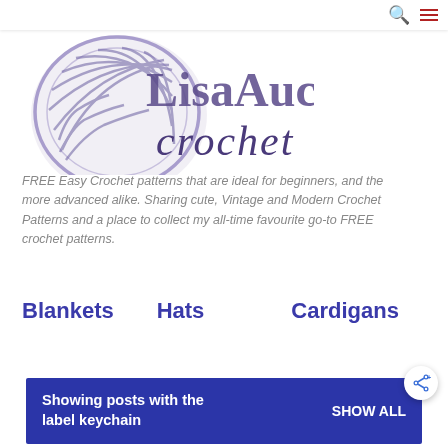[Figure (logo): LisaAuch Crochet logo — a ball of yarn illustration in purple/grey tones on the left, with 'LisaAuch' in large purple stylized text and 'crochet' in smaller decorative italic below]
FREE Easy Crochet patterns that are ideal for beginners, and the more advanced alike. Sharing cute, Vintage and Modern Crochet Patterns and a place to collect my all-time favourite go-to FREE crochet patterns.
Blankets
Hats
Cardigans
Showing posts with the label keychain   SHOW ALL